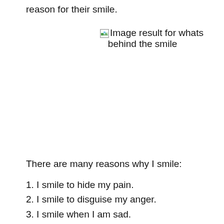reason for their smile.
[Figure (photo): Broken image placeholder with alt text: Image result for whats behind the smile]
There are many reasons why I smile:
1. I smile to hide my pain.
2. I smile to disguise my anger.
3. I smile when I am sad.
4. I smile when I am happy.